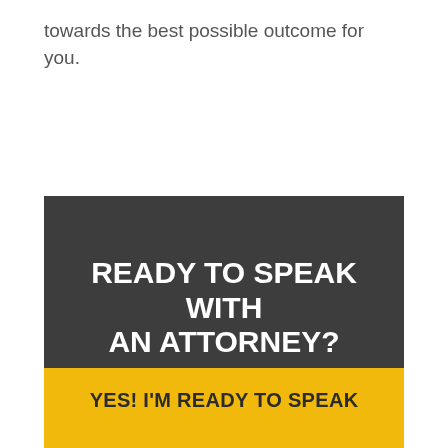towards the best possible outcome for you.
READY TO SPEAK WITH AN ATTORNEY?
Let's discuss the details of your case and see if we can help.
YES! I'M READY TO SPEAK WITH AN ATTORNEY